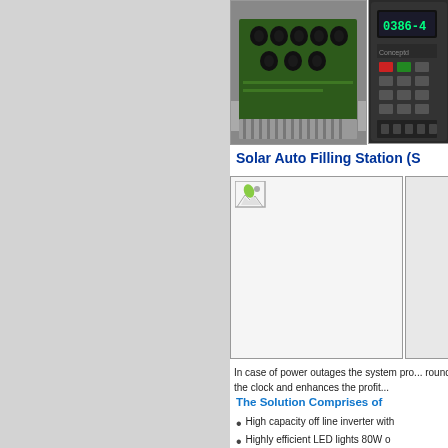[Figure (photo): Photo of a PCB/power electronics module with capacitors and heat sink, partially visible]
[Figure (photo): Photo of a variable frequency drive or inverter device with display panel, partially visible]
Solar Auto Filling Station (S
[Figure (photo): Main product photo placeholder (broken image icon shown), partially visible second image to the right]
In case of power outages the system pro... round the clock and enhances the profit...
The Solution Comprises of
High capacity off line inverter with
Highly efficient LED lights 80W o